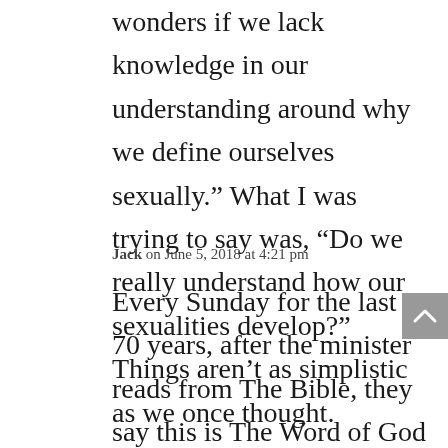wonders if we lack knowledge in our understanding around why we define ourselves sexually.” What I was trying to say was, “Do we really understand how our sexualities develop?” Things aren’t as simplistic as we once thought.
Jack on June 5, 2018 at 4:21 pm
Every Sunday for the last 70 years, after the minister reads from The Bible, they say this is The Word of God for the people of God, and the congregations response is thanks be to God. In Mark chapter 10:6-9 Jesus tells us